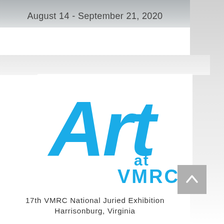August 14 - September 21, 2020
[Figure (logo): Art at VMRC logo with large blue script 'Art' text and 'at VMRC' in bold blue sans-serif below]
17th VMRC National Juried Exhibition
Harrisonburg, Virginia